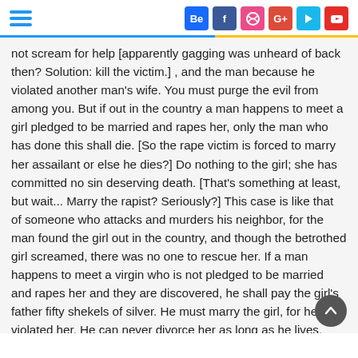hamburger menu | social icons: Be, f, dribbble, G+, Vine, YouTube
not scream for help [apparently gagging was unheard of back then? Solution: kill the victim.] , and the man because he violated another man's wife. You must purge the evil from among you. But if out in the country a man happens to meet a girl pledged to be married and rapes her, only the man who has done this shall die. [So the rape victim is forced to marry her assailant or else he dies?] Do nothing to the girl; she has committed no sin deserving death. [That's something at least, but wait... Marry the rapist? Seriously?] This case is like that of someone who attacks and murders his neighbor, for the man found the girl out in the country, and though the betrothed girl screamed, there was no one to rescue her. If a man happens to meet a virgin who is not pledged to be married and rapes her and they are discovered, he shall pay the girl's father fifty shekels of silver. He must marry the girl, for he has violated her. He can never divorce her as long as he lives. [Divorce was actually allowed back then, (but marrying a divorced woman was adultery, so...) so forcing the rapist to support the woman for as long as she lived I guess was a form punishment to him. But again - would a father back then give his